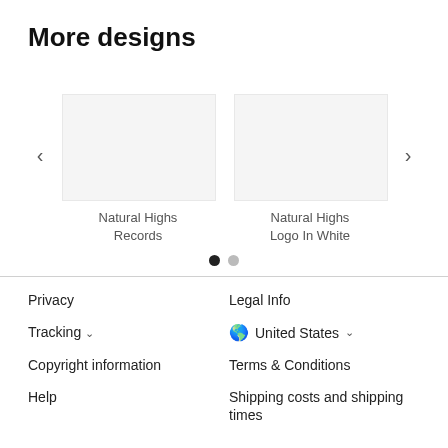More designs
[Figure (illustration): Carousel showing two design items: 'Natural Highs Records' and 'Natural Highs Logo In White', with left and right navigation arrows and two dot indicators below.]
Privacy
Legal Info
Tracking ∨
🌐 United States ∨
Copyright information
Terms & Conditions
Help
Shipping costs and shipping times